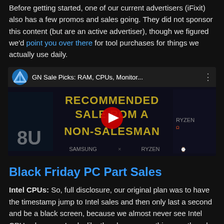Before getting started, one of our current advertisers (iFixit) also has a few promos and sales going. They did not sponsor this content (but are an active advertiser), though we figured we'd point you over there for tool purchases for things we actually use daily.
[Figure (screenshot): YouTube video thumbnail: GN Sale Picks: RAM, CPUs, Monitor... showing text RECOMMENDED SALE FROM A NON-SALESMAN with Samsung and Ryzen logos]
Black Friday PC Part Sales
Intel CPUs: So, full disclosure, our original plan was to have the timestamp jump to Intel sales and then only last a second and be a black screen, because we almost never see Intel CPU sales ever. Looks like they have some this year, though. The i7-7700K (Amazon) – which is still a good CPU, by all accounts – is a good pick-up, and at time of publication, is on